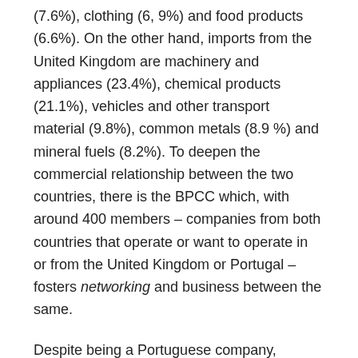(7.6%), clothing (6, 9%) and food products (6.6%). On the other hand, imports from the United Kingdom are machinery and appliances (23.4%), chemical products (21.1%), vehicles and other transport material (9.8%), common metals (8.9 %) and mineral fuels (8.2%). To deepen the commercial relationship between the two countries, there is the BPCC which, with around 400 members – companies from both countries that operate or want to operate in or from the United Kingdom or Portugal – fosters networking and business between the same.
Despite being a Portuguese company, Garland has always maintained an intense institutional and commercial relationship with the United Kingdom, home country of the Garland families, who managed the company between 1776 and 1850, and Dawson, currently with the fourth and fifth generations in the lead. . As a